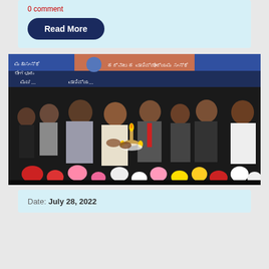0 comment
Read More
[Figure (photo): Group of dignitaries at a formal event lighting a ceremonial lamp (diya) on stage. Kannada text banners visible in the background. Colorful flowers arranged in the foreground.]
Date: July 28, 2022